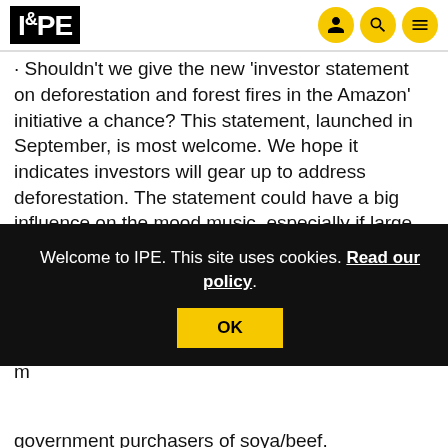IPE
· Shouldn't we give the new 'investor statement on deforestation and forest fires in the Amazon' initiative a chance? This statement, launched in September, is most welcome. We hope it indicates investors will gear up to address deforestation. The statement could have a big influence on the mood music, especially if large US fund managers support it.
se
It
m
government purchasers of soya/beef. Agribusinesses have considerable immunity to change and the statement does not call for the kind of forceful stewardship that is needed. Asset owners who sign
Welcome to IPE. This site uses cookies. Read our policy.